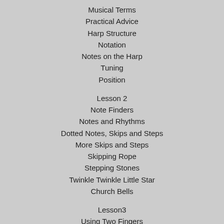Musical Terms
Practical Advice
Harp Structure
Notation
Notes on the Harp
Tuning
Position
Lesson 2
Note Finders
Notes and Rhythms
Dotted Notes, Skips and Steps
More Skips and Steps
Skipping Rope
Stepping Stones
Twinkle Twinkle Little Star
Church Bells
Lesson3
Using Two Fingers
Japanese Sunset
Intervals
Carnival